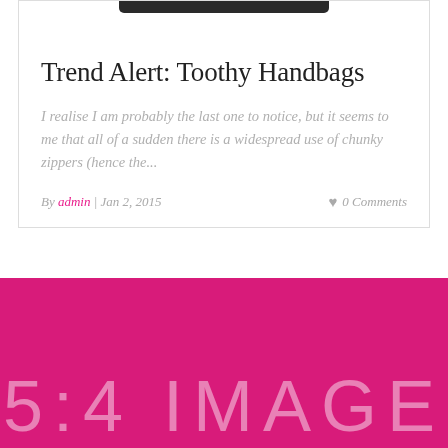[Figure (photo): Partial view of a handbag product photo at top of card, cropped]
Trend Alert: Toothy Handbags
I realise I am probably the last one to notice, but it seems to me that all of a sudden there is a widespread use of chunky zippers (hence the...
By admin | Jan 2, 2015   ♥ 0 Comments
[Figure (other): Hot pink/magenta section with large light text reading '5:4 IMAGE']